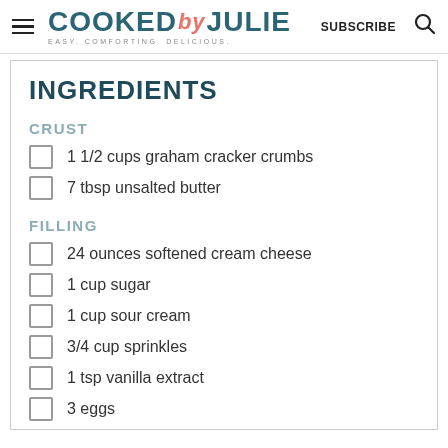COOKED by JULIE | EASY. COMFORTING. DELICIOUS. | SUBSCRIBE
INGREDIENTS
CRUST
1 1/2 cups graham cracker crumbs
7 tbsp unsalted butter
FILLING
24 ounces softened cream cheese
1 cup sugar
1 cup sour cream
3/4 cup sprinkles
1 tsp vanilla extract
3 eggs